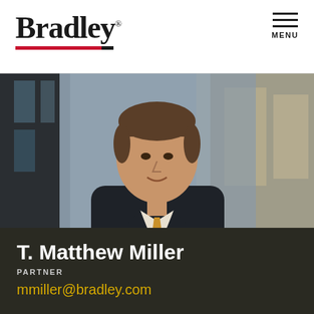Bradley | MENU
[Figure (photo): Professional headshot of T. Matthew Miller, a man in a dark suit with a gold/tan tie, smiling, photographed in front of a blurred office/city window background]
T. Matthew Miller
PARTNER
mmiller@bradley.com